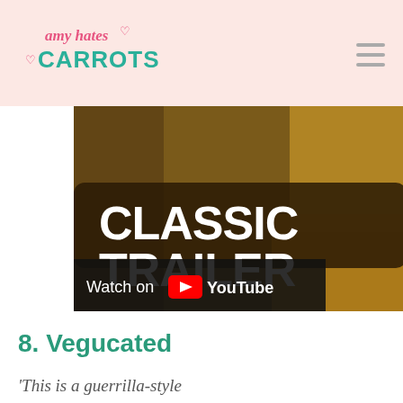amy hates carrots
[Figure (screenshot): YouTube video thumbnail showing 'CLASSIC TRAILER' text in large white bold letters over a brown/golden baked food background, with 'Watch on YouTube' text and YouTube logo at bottom left.]
8. Vegucated
‘This is a guerrilla-style